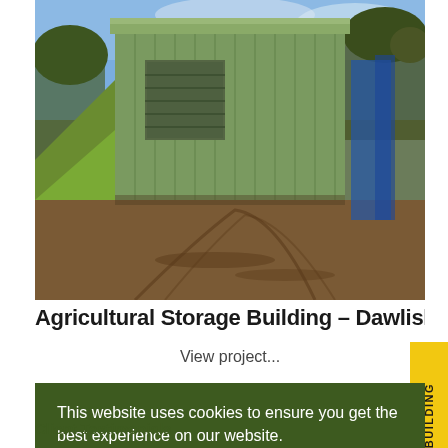[Figure (photo): Agricultural storage building with green metal cladding and a roller door, situated at the end of a dirt track with muddy tyre marks, sloping grass bank on left, trees in background under blue sky.]
Agricultural Storage Building - Dawlish Warre
View project...
This website uses cookies to ensure you get the best experience on our website. Learn more Continue
VISIT OUR NEW SHOW BUILDING
Client Testimonials